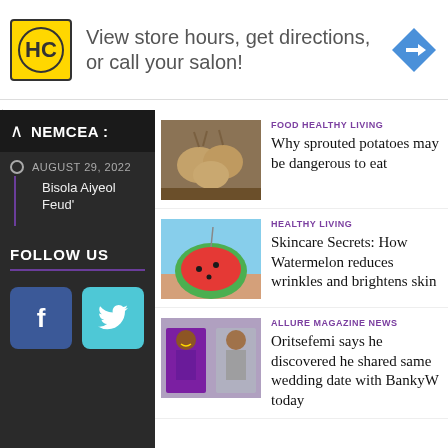[Figure (infographic): Ad banner: Headcase logo (HC in yellow circle), text 'View store hours, get directions, or call your salon!', blue diamond navigation arrow icon]
[Figure (screenshot): Left sidebar showing dark background with NEMCEA brand, date AUGUST 29, 2022, article snippet about Bisola Aiyeola Feud, FOLLOW US section with Facebook and Twitter buttons]
[Figure (photo): Photo of sprouted potatoes on wooden surface]
FOOD HEALTHY LIVING
Why sprouted potatoes may be dangerous to eat
[Figure (photo): Photo of half watermelon held by hand at beach]
HEALTHY LIVING
Skincare Secrets: How Watermelon reduces wrinkles and brightens skin
[Figure (photo): Photo of two people in Nigerian traditional wedding attire, purple and silver]
ALLURE MAGAZINE NEWS
Oritsefemi says he discovered he shared same wedding date with BankyW today